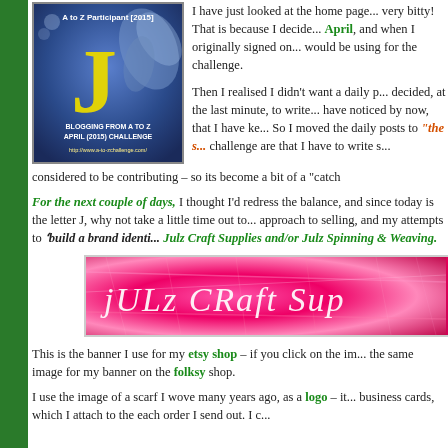[Figure (illustration): A to Z Participant [2015] badge with large yellow letter J on blue background with decorative leaf motif. Text reads BLOGGING FROM A TO Z APRIL (2015) CHALLENGE http://www.a-to-zchallenge.com/]
I have just looked at the home page... very bitty! That is because I decided... April, and when I originally signed on... would be using for the challenge.
Then I realised I didn't want a daily p... decided, at the last minute, to write... have noticed by now, that I have ke... So I moved the daily posts to "the s... challenge are that I have to write s... considered to be contributing – so its become a bit of a "catch
For the next couple of days, I thought I'd redress the balance, and since today is the letter J, why not take a little time out to... approach to selling, and my attempts to 'build a brand identi... Julz Craft Supplies and/or Julz Spinning & Weaving.
[Figure (photo): Pink fluffy banner image with white handwritten text reading 'jULz CRaft Sup...' - a shop banner for Julz Craft Supplies]
This is the banner I use for my etsy shop – if you click on the i... the same image for my banner on the folksy shop.
I use the image of a scarf I wove many years ago, as a logo – it... business cards, which I attach to the each order I send out. I c...